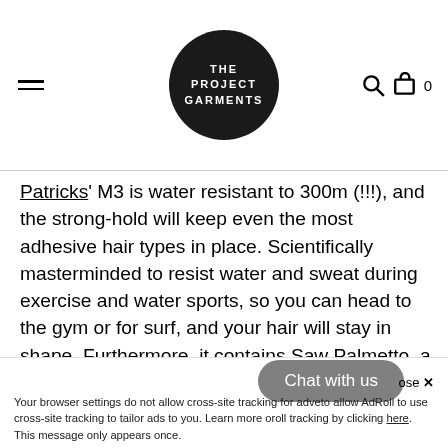THE PROJECT GARMENTS
Patricks' M3 is water resistant to 300m (!!!), and the strong-hold will keep even the most adhesive hair types in place. Scientifically masterminded to resist water and sweat during exercise and water sports, so you can head to the gym or for surf, and your hair will stay in shape. Furthermore, it contains Saw Palmetto, a fruit extract that blocks the production of DHT, the enzyme that causes hair loss. A real multitasker.
[Figure (photo): Dark background with what appears to be water bubbles or spherical objects on a dark space-like background]
Your browser settings do not allow cross-site tracking for advertising purposes. Click here to allow AdRoll to use cross-site tracking to tailor ads to you. Learn more or opt out of this AdRoll tracking by clicking here. This message only appears once.